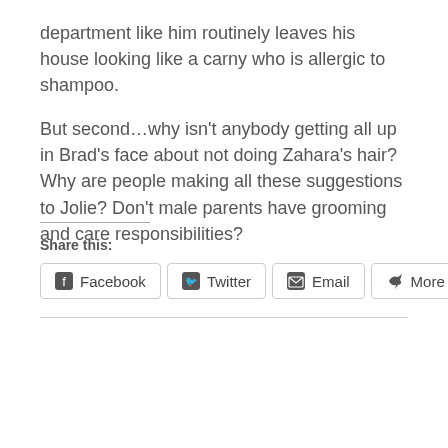department like him routinely leaves his house looking like a carny who is allergic to shampoo.
But second…why isn't anybody getting all up in Brad's face about not doing Zahara's hair? Why are people making all these suggestions to Jolie? Don't male parents have grooming and care responsibilities?
Share this:
[Figure (other): Social share buttons: Facebook, Twitter, Email, More]